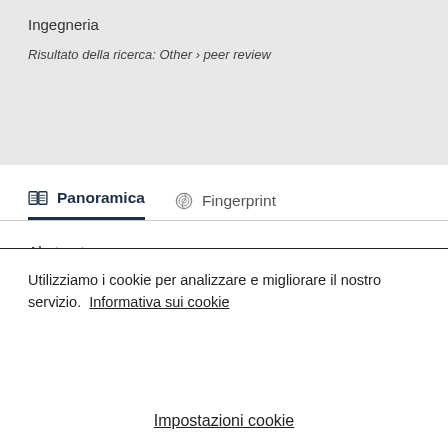Ingegneria
Risultato della ricerca: Other › peer review
Panoramica
Fingerprint
Abstract
Real option Analysis (ROA) is acknowledged as a powerful tool to evaluate uncertain projectswhose uncertainty depends heavily on alternatives available along the project life. The R&Dprocess in
Utilizziamo i cookie per analizzare e migliorare il nostro servizio.  Informativa sui cookie
Impostazioni cookie